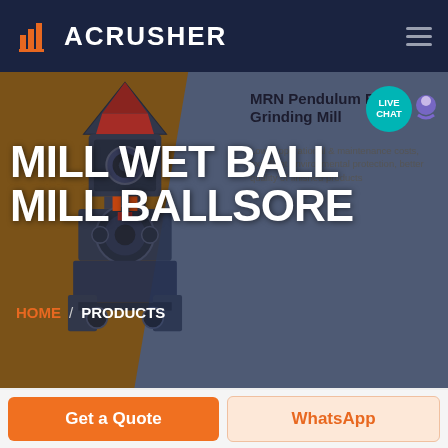ACRUSHER
[Figure (screenshot): Website screenshot of ACRUSHER product page featuring an industrial ball mill machine. Left panel shows brown/tan background with industrial grinding machine. Right panel shows gray-blue background with product info: MRN Pendulum Roller Grinding Mill. Hero title reads MILL WET BALL MILL BALLSORE. Breadcrumb: HOME / PRODUCTS. Live Chat bubble in top right. Bottom buttons: Get a Quote (orange) and WhatsApp (light orange).]
MILL WET BALL MILL BALLSORE
MRN Pendulum Roller Grinding Mill
Lower operational & maintenance costs, excellent environmental protection, better quality of finished products
HOME / PRODUCTS
Get a Quote
WhatsApp